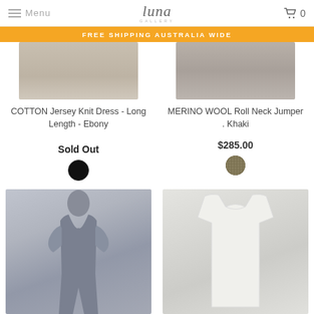Menu | luna GALLERY | 0
FREE SHIPPING AUSTRALIA WIDE
[Figure (photo): Partial product image - COTTON Jersey Knit Dress]
COTTON Jersey Knit Dress - Long Length - Ebony
Sold Out
[Figure (photo): Black color swatch circle]
[Figure (photo): Partial product image - MERINO WOOL Roll Neck Jumper]
MERINO WOOL Roll Neck Jumper . Khaki
$285.00
[Figure (photo): Khaki textured fabric color swatch circle]
[Figure (photo): Full length model wearing grey knit dress]
[Figure (photo): Flat lay white/cream garment on light background]